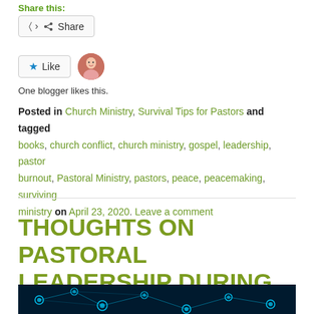Share this:
Share
Like
One blogger likes this.
Posted in Church Ministry, Survival Tips for Pastors and tagged books, church conflict, church ministry, gospel, leadership, pastor burnout, Pastoral Ministry, pastors, peace, peacemaking, surviving ministry on April 23, 2020. Leave a comment
THOUGHTS ON PASTORAL LEADERSHIP DURING CRISIS
[Figure (photo): Blue glowing virus/molecule network image on dark background]